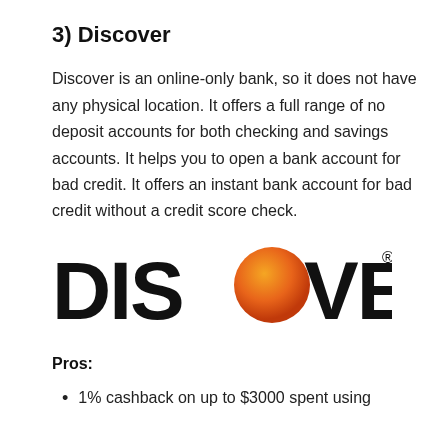3) Discover
Discover is an online-only bank, so it does not have any physical location. It offers a full range of no deposit accounts for both checking and savings accounts. It helps you to open a bank account for bad credit. It offers an instant bank account for bad credit without a credit score check.
[Figure (logo): Discover logo — large bold black text reading DISCOVER with an orange circle replacing the letter O]
Pros:
1% cashback on up to $3000 spent using